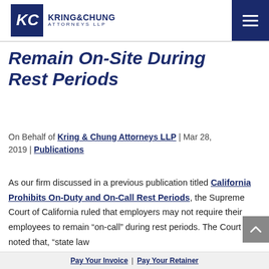[Figure (logo): Kring & Chung Attorneys LLP logo with navy blue KC emblem and firm name]
Remain On-Site During Rest Periods
On Behalf of Kring & Chung Attorneys LLP | Mar 28, 2019 | Publications
As our firm discussed in a previous publication titled California Prohibits On-Duty and On-Call Rest Periods, the Supreme Court of California ruled that employers may not require their employees to remain "on-call" during rest periods. The Court noted that, "state law
Pay Your Invoice | Pay Your Retainer